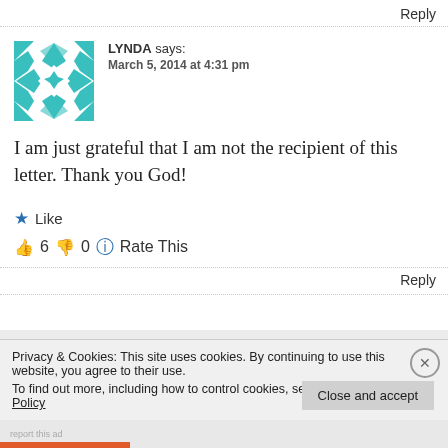Reply
[Figure (illustration): Teal/turquoise geometric quilt-pattern avatar icon for user LYNDA]
LYNDA says:
March 5, 2014 at 4:31 pm
I am just grateful that I am not the recipient of this letter. Thank you God!
★ Like
👍 6  👎 0  ℹ Rate This
Reply
Privacy & Cookies: This site uses cookies. By continuing to use this website, you agree to their use.
To find out more, including how to control cookies, see here: Cookie Policy
Close and accept